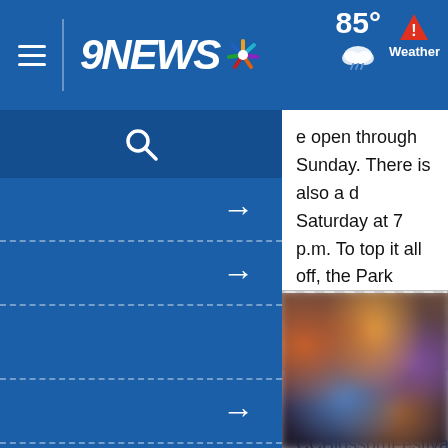9NEWS — Navigation bar with hamburger menu, 9NEWS NBC logo, weather: 85° Weather
e open through Sunday. There is also a d Saturday at 7 p.m. To top it all off, the Park Craft Fair & Kids Zone will have over rs and kids activities. To see a complete CCBlossomFestival.com.
[Figure (photo): Blurred photo of a festive outdoor event scene with warm and colorful lighting]
[Figure (other): Advertisement placeholder with hatched pattern]